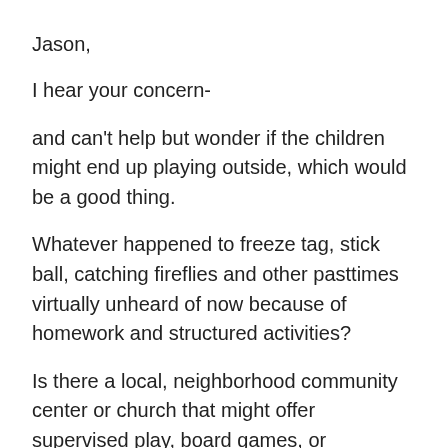Jason,
I hear your concern-
and can't help but wonder if the children might end up playing outside, which would be a good thing.
Whatever happened to freeze tag, stick ball, catching fireflies and other pasttimes virtually unheard of now because of homework and structured activities?
Is there a local, neighborhood community center or church that might offer supervised play, board games, or something like that?
I bet with some encouragement from a concerned teacher, your students could find something to do besides homework or pro wrestling on tv...